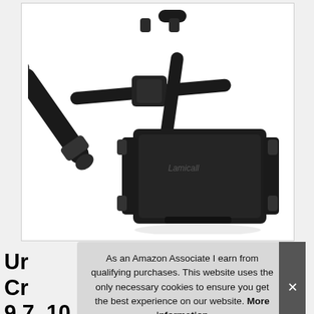[Figure (photo): A black car headrest tablet/phone mount holder with extendable arm and adjustable clamp cradle. The product has a 'Lamicall' logo on the main holder unit. The mount features a pole/rod that attaches to headrest posts and a spring-loaded device holder.]
Ur Cr 9.7, 10.5, Switch, iPad Air mini 2 3 4,
As an Amazon Associate I earn from qualifying purchases. This website uses the only necessary cookies to ensure you get the best experience on our website. More information